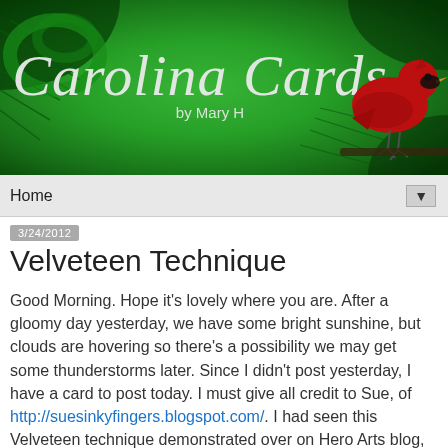[Figure (illustration): Carolina Cards by Mary H blog header banner with dark green background, pine branches, large cursive white text 'Carolina Cards' with subtitle 'by Mary H', and a red cardinal bird perched on the right side]
Home ▼
3/24/2012
Velveteen Technique
Good Morning. Hope it's lovely where you are. After a gloomy day yesterday, we have some bright sunshine, but clouds are hovering so there's a possibility we may get some thunderstorms later. Since I didn't post yesterday, I have a card to post today. I must give all credit to Sue, of http://suesinkyfingers.blogspot.com/. I had seen this Velveteen technique demonstrated over on Hero Arts blog,